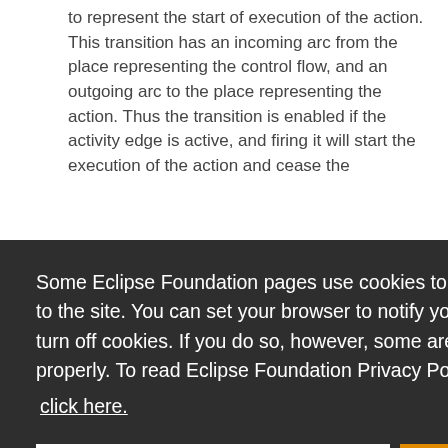to represent the start of execution of the action. This transition has an incoming arc from the place representing the control flow, and an outgoing arc to the place representing the action. Thus the transition is enabled if the activity edge is active, and firing it will start the execution of the action and cease the
Some Eclipse Foundation pages use cookies to better serve you when you return to the site. You can set your browser to notify you before you receive a cookie or turn off cookies. If you do so, however, some areas of some sites may not function properly. To read Eclipse Foundation Privacy Policy click here.
representing the incoming activity edge, and the